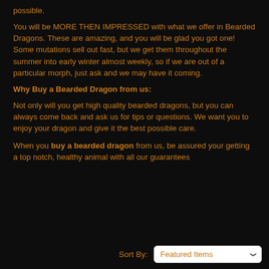possible.
You will be MORE THEN IMPRESSED with what we offer in Bearded Dragons. These are amazing, and you will be glad you got one! Some mutations sell out fast, but we get them throughout the summer into early winter almost weekly, so if we are out of a particular morph, just ask and we may have it coming.
Why Buy a Bearded Dragon from us:
Not only will you get high quality bearded dragons, but you can always come back and ask us for tips or questions. We want you to enjoy your dragon and give it the best possible care.
When you buy a bearded dragon from us, be assured your getting a top notch, healthy animal with all our guarantees
Sort By: Featured Items